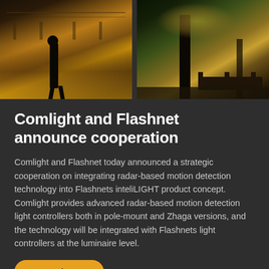[Figure (photo): Two nighttime outdoor scenes side by side: left shows a person walking near a waterfront with warm golden street lighting reflecting on water; right shows an illuminated park area with benches and trees lit in warm amber tones.]
Comlight and Flashnet announce cooperation
Comlight and Flashnet today announced a strategic cooperation on integrating radar-based motion detection technology into Flashnets inteliLIGHT product concept. Comlight provides advanced radar-based motion detection light controllers both in pole-mount and Zhaga versions, and the technology will be integrated with Flashnets light controllers at the luminaire level.
→ Read more